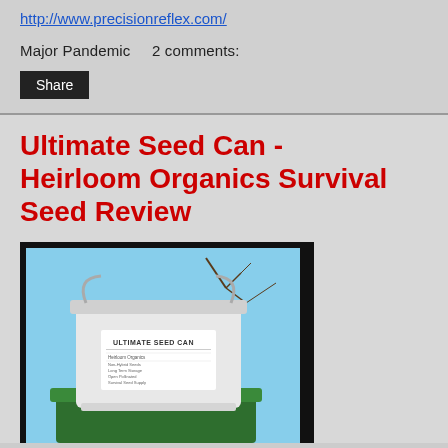http://www.precisionreflex.com/
Major Pandemic    2 comments:
Share
Ultimate Seed Can - Heirloom Organics Survival Seed Review
[Figure (photo): Photo of a white plastic bucket labeled 'Ultimate Seed Can' sitting on top of a green bucket, with a blue sky and bare tree branches in the background.]